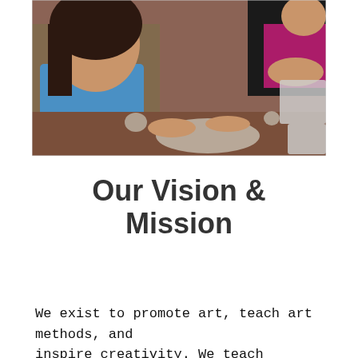[Figure (photo): A young girl with braces in a blue t-shirt working with clay at a table, alongside another person also working with clay. The setting appears to be an art class or studio.]
Our Vision & Mission
We exist to promote art, teach art methods, and inspire creativity. We teach heritage and